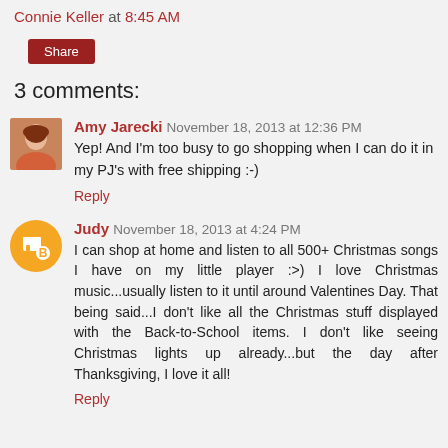Connie Keller at 8:45 AM
Share
3 comments:
Amy Jarecki November 18, 2013 at 12:36 PM
Yep! And I'm too busy to go shopping when I can do it in my PJ's with free shipping :-)
Reply
Judy November 18, 2013 at 4:24 PM
I can shop at home and listen to all 500+ Christmas songs I have on my little player :>) I love Christmas music...usually listen to it until around Valentines Day. That being said...I don't like all the Christmas stuff displayed with the Back-to-School items. I don't like seeing Christmas lights up already...but the day after Thanksgiving, I love it all!
Reply